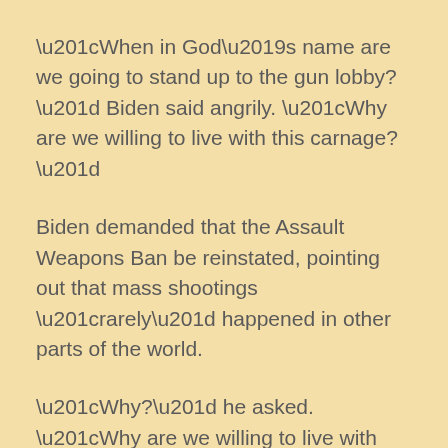“When in God’s name are we going to stand up to the gun lobby?” Biden said angrily. “Why are we willing to live with this carnage?”
Biden demanded that the Assault Weapons Ban be reinstated, pointing out that mass shootings “rarely” happened in other parts of the world.
“Why?” he asked. “Why are we willing to live with this carnage? Why do we keep letting this happen? Where in God’s name is our backbone? … It’s time to act.”
Biden specifically called out political leaders who voted to protect the Second Amendment by